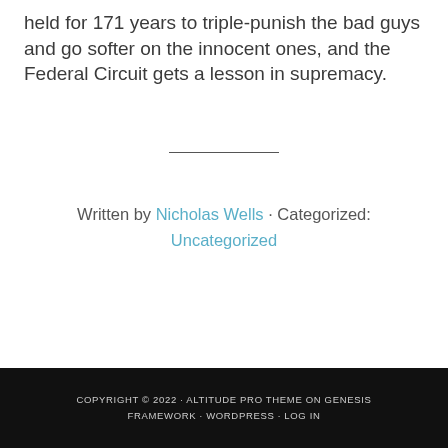held for 171 years to triple-punish the bad guys and go softer on the innocent ones, and the Federal Circuit gets a lesson in supremacy.
Written by Nicholas Wells · Categorized: Uncategorized
COPYRIGHT © 2022 · ALTITUDE PRO THEME ON GENESIS FRAMEWORK · WORDPRESS · LOG IN